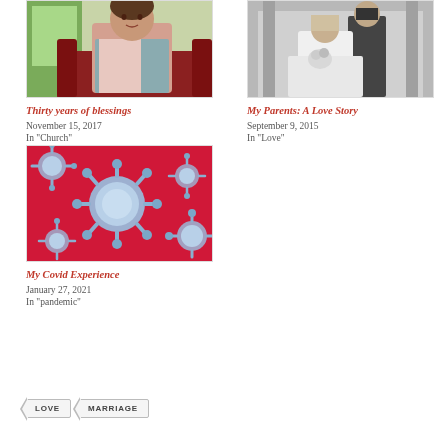[Figure (photo): Photo of a woman sitting on a red couch, wearing a blue vest]
Thirty years of blessings
November 15, 2017
In "Church"
[Figure (photo): Black and white wedding photo of a couple]
My Parents: A Love Story
September 9, 2015
In "Love"
[Figure (photo): Colorful microscopic image of coronavirus particles on red background]
My Covid Experience
January 27, 2021
In "pandemic"
LOVE
MARRIAGE